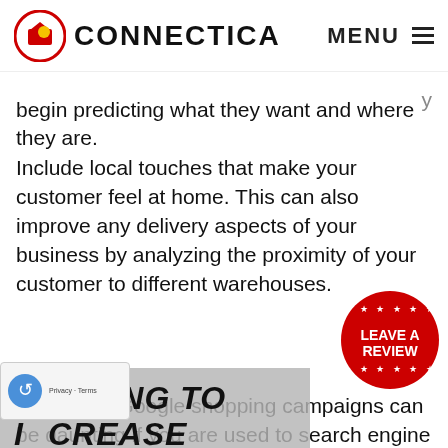CONNECTICA | MENU
begin predicting what they want and where they are.
Include local touches that make your customer feel at home. This can also improve any delivery aspects of your business by analyzing the proximity of your customer to different warehouses.
[Figure (infographic): Overlay advertisement panel with grey background reading: LOOKING TO INCREASE YOUR VISIBILITY? GOOGLE SHOPPING ADS — with accessibility icon and Leave a Review badge, and partial text 'Contact your local SEO Experts to see how we can get your blog campaigns first page.']
Running a Google shopping campaigns can be daunting if you are used to search engine campaigns that make use of keywords only, but they are an invaluable asset for any e-commerce site. They make use of product attributes with images to attract the